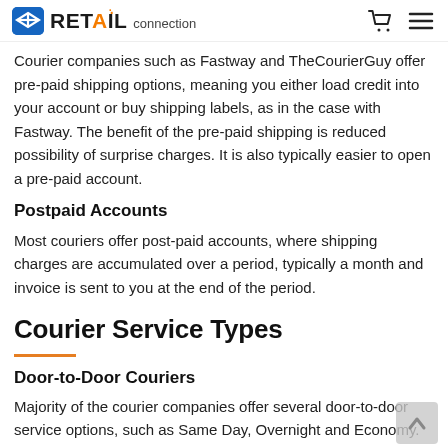RETAIL connection
Courier companies such as Fastway and TheCourierGuy offer pre-paid shipping options, meaning you either load credit into your account or buy shipping labels, as in the case with Fastway. The benefit of the pre-paid shipping is reduced possibility of surprise charges. It is also typically easier to open a pre-paid account.
Postpaid Accounts
Most couriers offer post-paid accounts, where shipping charges are accumulated over a period, typically a month and invoice is sent to you at the end of the period.
Courier Service Types
Door-to-Door Couriers
Majority of the courier companies offer several door-to-door service options, such as Same Day, Overnight and Economy. All options including picking up a parcel from one location and